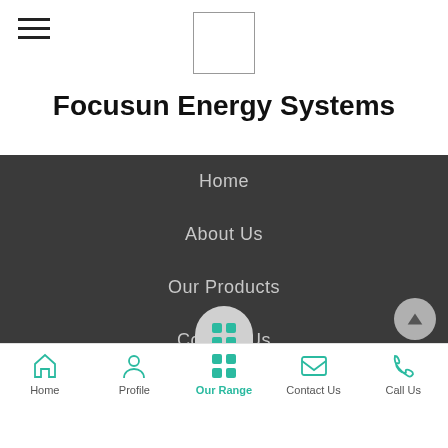[Figure (logo): Hamburger menu icon (three horizontal lines) on the top left]
[Figure (logo): Company logo placeholder box (white rectangle with border) centered in header]
Focusun Energy Systems
Home
About Us
Our Products
Contact Us
Share via
© Focusun Energy Systems
[Figure (illustration): Back-to-top button (grey circle with upward arrow)]
[Figure (screenshot): Mobile bottom navigation bar with icons: Home, Profile, Our Range (active), Contact Us, Call Us]